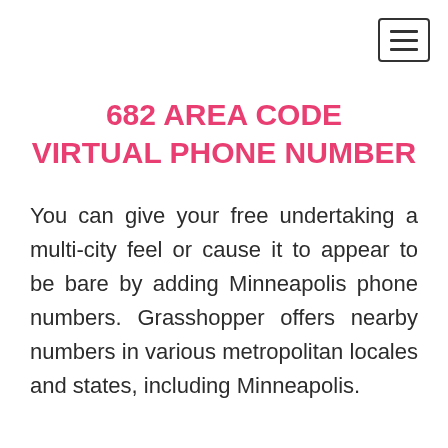682 AREA CODE VIRTUAL PHONE NUMBER
You can give your free undertaking a multi-city feel or cause it to appear to be bare by adding Minneapolis phone numbers. Grasshopper offers nearby numbers in various metropolitan locales and states, including Minneapolis.